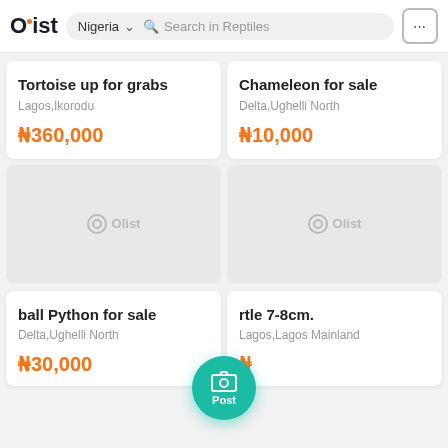Olist | Nigeria | Search in Reptiles
Tortoise up for grabs
Lagos,Ikorodu
₦360,000
Chameleon for sale
Delta,Ughelli North
₦10,000
[Figure (photo): Olist watermark placeholder image for listing]
[Figure (photo): Olist watermark placeholder image for listing]
ball Python for sale
Delta,Ughelli North
₦30,000
rtle 7-8cm.
Lagos,Lagos Mainland